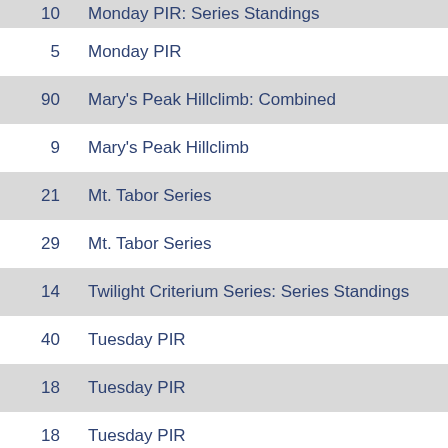10  Monday PIR: Series Standings
5  Monday PIR
90  Mary's Peak Hillclimb: Combined
9  Mary's Peak Hillclimb
21  Mt. Tabor Series
29  Mt. Tabor Series
14  Twilight Criterium Series: Series Standings
40  Tuesday PIR
18  Tuesday PIR
18  Tuesday PIR
21  Monday PIR
12  Montinore Road Race